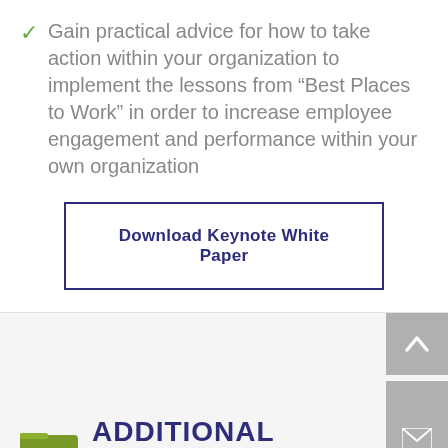Gain practical advice for how to take action within your organization to implement the lessons from “Best Places to Work” in order to increase employee engagement and performance within your own organization
Download Keynote White Paper
ADDITIONAL RESOURCES